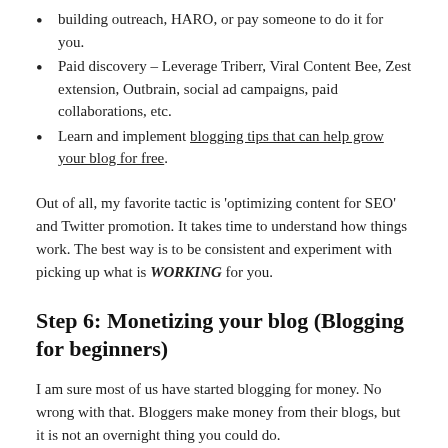building outreach, HARO, or pay someone to do it for you.
Paid discovery – Leverage Triberr, Viral Content Bee, Zest extension, Outbrain, social ad campaigns, paid collaborations, etc.
Learn and implement blogging tips that can help grow your blog for free.
Out of all, my favorite tactic is 'optimizing content for SEO' and Twitter promotion. It takes time to understand how things work. The best way is to be consistent and experiment with picking up what is WORKING for you.
Step 6: Monetizing your blog (Blogging for beginners)
I am sure most of us have started blogging for money. No wrong with that. Bloggers make money from their blogs, but it is not an overnight thing you could do.
While...